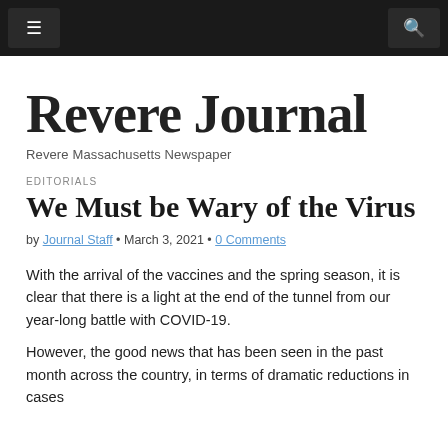Revere Journal
Revere Journal
Revere Massachusetts Newspaper
EDITORIALS
We Must be Wary of the Virus
by Journal Staff • March 3, 2021 • 0 Comments
With the arrival of the vaccines and the spring season, it is clear that there is a light at the end of the tunnel from our year-long battle with COVID-19.
However, the good news that has been seen in the past month across the country, in terms of dramatic reductions in cases